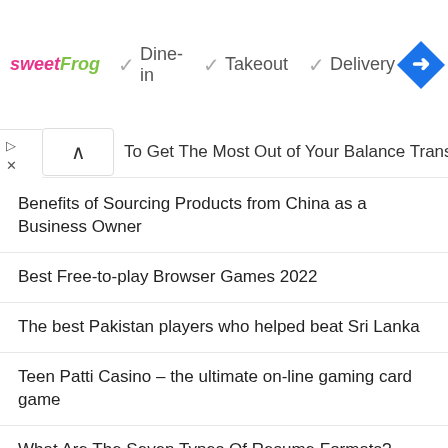[Figure (screenshot): Advertisement banner for sweetFrog restaurant showing logo and service options: Dine-in, Takeout, Delivery with checkmarks, and a navigation arrow icon]
To Get The Most Out of Your Balance Transfer Credit Card
Benefits of Sourcing Products from China as a Business Owner
Best Free-to-play Browser Games 2022
The best Pakistan players who helped beat Sri Lanka
Teen Patti Casino – the ultimate on-line gaming card game
What Are The Seven Types Of Resume Formats?
How SAFe Product Owner Certification Help To Boost The Career?
Everything you need to know about MathsWatch VLE Student Portal: Login, Registration & bbb